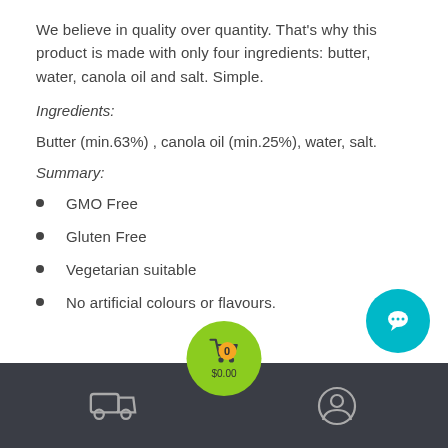We believe in quality over quantity. That's why this product is made with only four ingredients: butter, water, canola oil and salt. Simple.
Ingredients:
Butter (min.63%) , canola oil (min.25%), water, salt.
Summary:
GMO Free
Gluten Free
Vegetarian suitable
No artificial colours or flavours.
$0.00 cart, 0 items